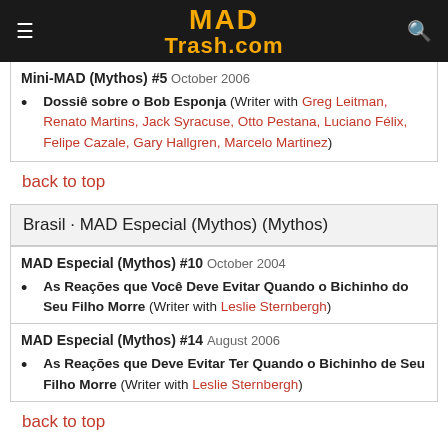MAD Trash.com
Mini-MAD (Mythos) #5  October 2006
Dossiê sobre o Bob Esponja (Writer with Greg Leitman, Renato Martins, Jack Syracuse, Otto Pestana, Luciano Félix, Felipe Cazale, Gary Hallgren, Marcelo Martinez)
back to top
Brasil · MAD Especial (Mythos) (Mythos)
MAD Especial (Mythos) #10  October 2004
As Reações que Você Deve Evitar Quando o Bichinho do Seu Filho Morre (Writer with Leslie Sternbergh)
MAD Especial (Mythos) #14  August 2006
As Reações que Deve Evitar Ter Quando o Bichinho de Seu Filho Morre (Writer with Leslie Sternbergh)
back to top